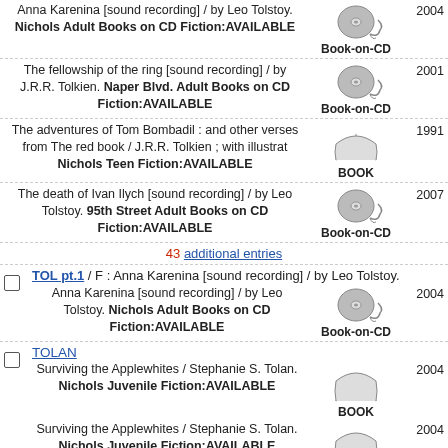Anna Karenina [sound recording] / by Leo Tolstoy. Nichols Adult Books on CD Fiction:AVAILABLE | Book-on-CD | 2004
The fellowship of the ring [sound recording] / by J.R.R. Tolkien. Naper Blvd. Adult Books on CD Fiction:AVAILABLE | Book-on-CD | 2001
The adventures of Tom Bombadil : and other verses from The red book / J.R.R. Tolkien ; with illustrat Nichols Teen Fiction:AVAILABLE | BOOK | 1991
The death of Ivan Ilych [sound recording] / by Leo Tolstoy. 95th Street Adult Books on CD Fiction:AVAILABLE | Book-on-CD | 2007
43 additional entries
TOL pt.1 / F : Anna Karenina [sound recording] / by Leo Tolstoy. | Anna Karenina [sound recording] / by Leo Tolstoy. Nichols Adult Books on CD Fiction:AVAILABLE | Book-on-CD | 2004
TOLAN | Surviving the Applewhites / Stephanie S. Tolan. Nichols Juvenile Fiction:AVAILABLE | BOOK | 2004
Surviving the Applewhites / Stephanie S. Tolan. Nichols Juvenile Fiction:AVAILABLE | BOOK | 2004
TOLCSER | Song of the current / Sarah Tolcser. Naper Blvd. Teen Fiction:AVAILABLE, Nichols Teen Fiction:AVAILABLE | BOOK | 2017